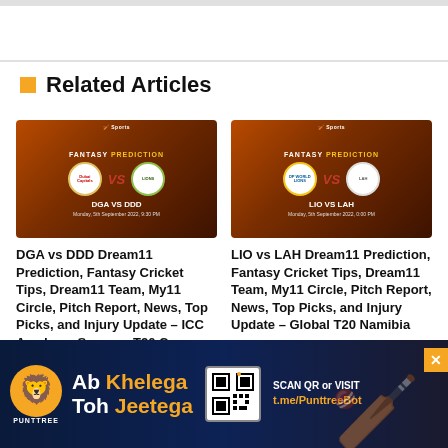Related Articles
[Figure (illustration): Fantasy Prediction card for DGA vs DDD, Monday 5th September 2022, 9:30 PM]
DGA vs DDD Dream11 Prediction, Fantasy Cricket Tips, Dream11 Team, My11 Circle, Pitch Report, News, Top Picks, and Injury Update – ICC Academy Summer T20 Cup
[Figure (illustration): Fantasy Prediction card for LIO vs LAH, Monday 5th September 2022, 0:00 PM]
LIO vs LAH Dream11 Prediction, Fantasy Cricket Tips, Dream11 Team, My11 Circle, Pitch Report, News, Top Picks, and Injury Update – Global T20 Namibia
[Figure (infographic): Punttree advertisement banner: Ab Khelega Toh Jeetega, SCAN QR or VISIT t.me/PunttreeBot]